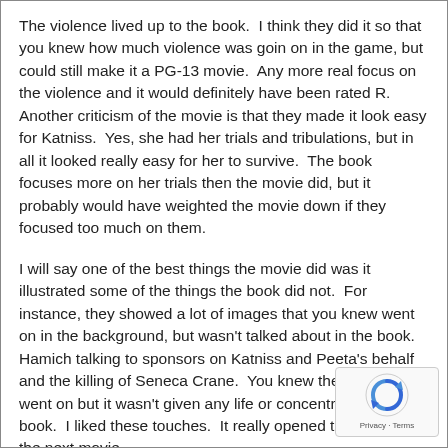The violence lived up to the book.  I think they did it so that you knew how much violence was goin on in the game, but could still make it a PG-13 movie.  Any more real focus on the violence and it would definitely have been rated R.  Another criticism of the movie is that they made it look easy for Katniss.  Yes, she had her trials and tribulations, but in all it looked really easy for her to survive.  The book focuses more on her trials then the movie did, but it probably would have weighted the movie down if they focused too much on them.
I will say one of the best things the movie did was it illustrated some of the things the book did not.  For instance, they showed a lot of images that you knew went on in the background, but wasn't talked about in the book.  Hamich talking to sponsors on Katniss and Peeta's behalf and the killing of Seneca Crane.  You knew these things went on but it wasn't given any life or concentration in the book.  I liked these touches.  It really opened things up for the next movie.